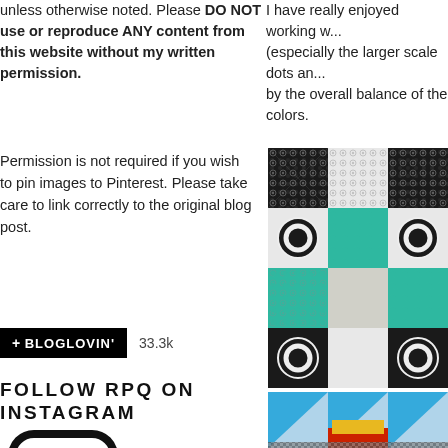unless otherwise noted. Please DO NOT use or reproduce ANY content from this website without my written permission.
I have really enjoyed working w... (especially the larger scale dots an... by the overall balance of the colors.
Permission is not required if you wish to pin images to Pinterest. Please take care to link correctly to the original blog post.
[Figure (logo): Bloglovin button with +BLOGLOVIN' text and 33.3k follower count]
FOLLOW RPQ ON INSTAGRAM
[Figure (illustration): Instagram camera icon outline in black]
[Figure (photo): Quilt block with black/white floral pattern and teal leaf fabric arranged in a pinwheel pattern]
[Figure (photo): Quilt block with blue, red, and yellow triangles visible at bottom]